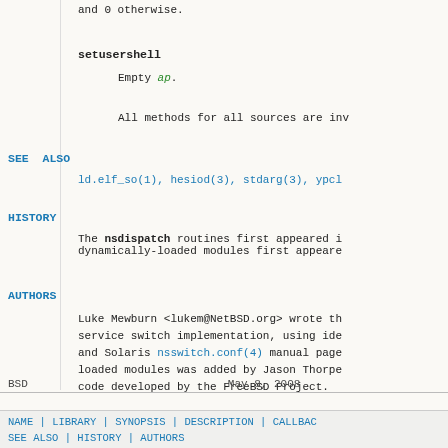and 0 otherwise.
setusershell
Empty ap.
All methods for all sources are inv
SEE ALSO
ld.elf_so(1), hesiod(3), stdarg(3), ypcl
HISTORY
The nsdispatch routines first appeared i
dynamically-loaded modules first appeare
AUTHORS
Luke Mewburn <lukem@NetBSD.org> wrote th
service switch implementation, using ide
and Solaris nsswitch.conf(4) manual page
loaded modules was added by Jason Thorpe
code developed by the FreeBSD Project.
BSD                                                        May 8, 2008
NAME | LIBRARY | SYNOPSIS | DESCRIPTION | CALLBAC
SEE ALSO | HISTORY | AUTHORS